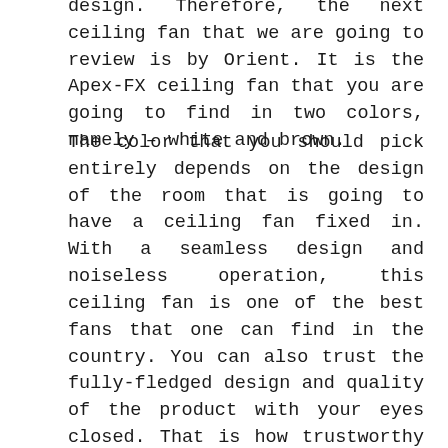design. Therefore, the next ceiling fan that we are going to review is by Orient. It is the Apex-FX ceiling fan that you are going to find in two colors, namely – white and brown.
The color that you should pick entirely depends on the design of the room that is going to have a ceiling fan fixed in. With a seamless design and noiseless operation, this ceiling fan is one of the best fans that one can find in the country. You can also trust the fully-fledged design and quality of the product with your eyes closed. That is how trustworthy Orient Electrics is known to be in India. If you have trouble, you can also try contacting them, and they will try to get to you as soon as possible. With a price that touches the mean price of most of the ceiling